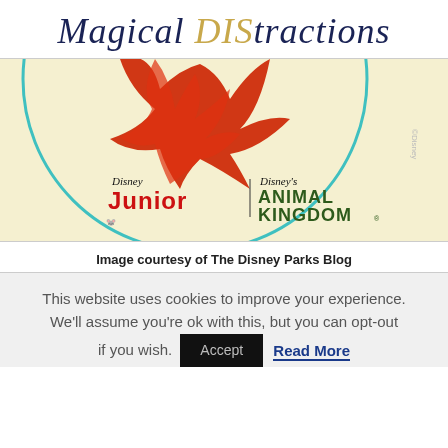Magical DIStractions
[Figure (photo): A circular badge/button with a cream/yellow background and teal circle border featuring Disney Junior and Disney's Animal Kingdom logos with a red flame or phoenix character at the top. Copyright Disney mark visible.]
Image courtesy of The Disney Parks Blog
This website uses cookies to improve your experience. We'll assume you're ok with this, but you can opt-out if you wish.
Accept   Read More